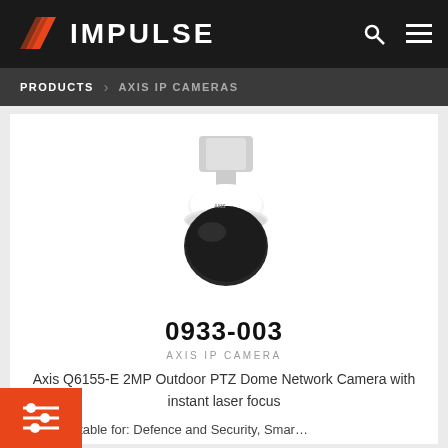[Figure (logo): IMPULSE logo with orange chevron/flag icon on dark background header bar]
PRODUCTS › AXIS IP CAMERAS
[Figure (photo): Axis Q6155-E 2MP Outdoor PTZ Dome Network Camera white dome unit with wall mount bracket]
0933-003
AXIS IP CAMERA
Axis Q6155-E 2MP Outdoor PTZ Dome Network Camera with instant laser focus
Suitable for: Defence and Security, Smar...